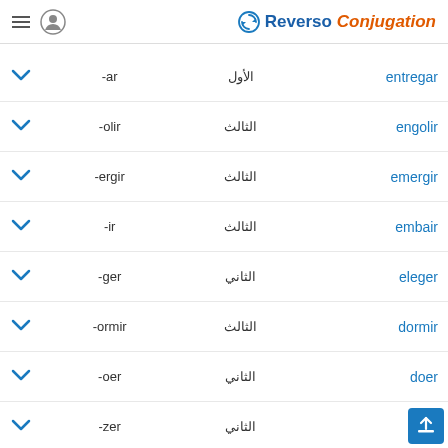Reverso Conjugation
entregar | الأول | -ar
engolir | الثالث | -olir
emergir | الثالث | -ergir
embair | الثالث | -ir
eleger | الثاني | -ger
dormir | الثالث | -ormir
doer | الثاني | -oer
dizer | الثاني | -zer